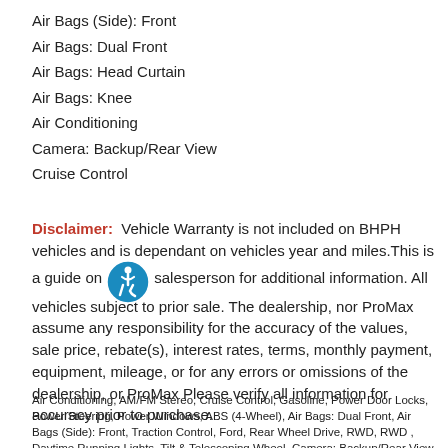Air Bags (Side): Front
Air Bags: Dual Front
Air Bags: Head Curtain
Air Bags: Knee
Air Conditioning
Camera: Backup/Rear View
Cruise Control
Disclaimer: Vehicle Warranty is not included on BHPH vehicles and is dependant on vehicles year and miles.This is a guide on, please see salesperson for additional information. All vehicles subject to prior sale. The dealership, nor ProMax assume any responsibility for the accuracy of the values, sale price, rebate(s), interest rates, terms, monthly payment, equipment, mileage, or for any errors or omissions of the dealership, or ProMax Please verify all information for accuracy prior to purchase.
Air Conditioning, AM/FM Stereo, Cruise Control, Gasoline, Power Door Locks, Power Steering, Power Windows, ABS (4-Wheel), Air Bags: Dual Front, Air Bags (Side): Front, Traction Control, Ford, Rear Wheel Drive, RWD, RWD , Daytime Running Lights, Tilt & Telescoping Wheel, Camera: Backup/Rear View, SYNC, Power Liftgate Release, AdvanceTrac, Sporty Car, Air Bags: Head Curtain,